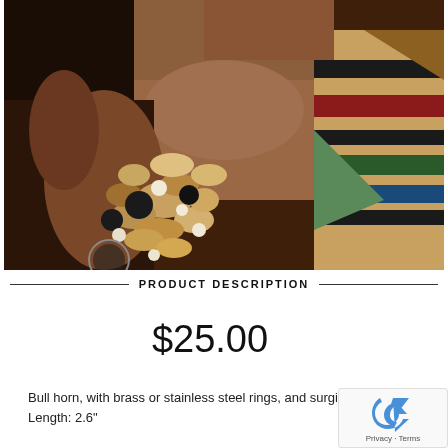[Figure (photo): A person wearing a colorful patterned jacket holding a large chunky beaded bracelet/ring made of wooden beads, horn pieces, and black and white balls. The person has pink/magenta lipstick visible at top.]
PRODUCT DESCRIPTION
$25.00
Bull horn, with brass or stainless steel rings, and surgical steel
Length: 2.6"